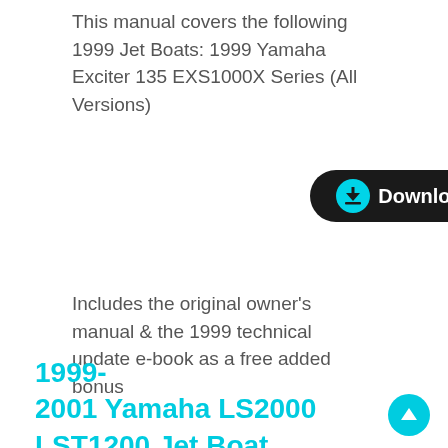This manual covers the following 1999 Jet Boats: 1999 Yamaha Exciter 135 EXS1000X Series (All Versions)
[Figure (other): Download button: dark rounded rectangle with cyan circle containing a downward arrow icon and white bold 'Download' text]
Includes the original owner's manual & the 1999 technical update e-book as a free added bonus
1999-2001 Yamaha LS2000 LST1200 Jet Boat Series Repair and Maintenance Manual